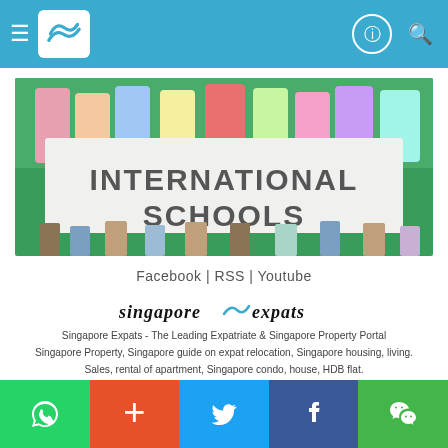Singapore Expats navigation bar with hamburger menu, logo, and icons
[Figure (photo): Children holding a large white banner reading INTERNATIONAL SCHOOLS against a green background]
Facebook | RSS | Youtube
[Figure (logo): singapore expats logo with stylized swoosh]
Singapore Expats - The Leading Expatriate & Singapore Property Portal Singapore Property, Singapore guide on expat relocation, Singapore housing, living. Sales, rental of apartment, Singapore condo, house, HDB flat. Copyright © 2002 to 2022 SingaporeExpats.com Pte Ltd, All Rights Reserved. Terms and Conditions of Use.
Social sharing buttons: WhatsApp, Plus, Twitter, Facebook, WeChat